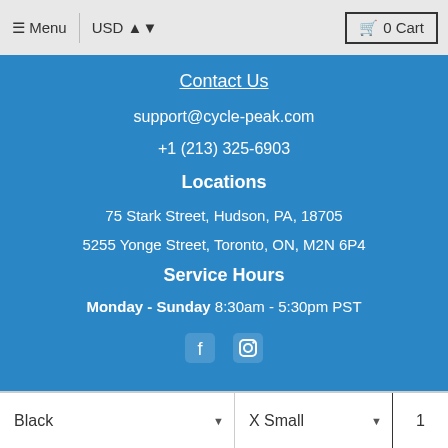Menu  USD  0 Cart
Contact Us
support@cycle-peak.com
+1 (213) 325-6903
Locations
75 Stark Street, Hudson, PA, 18705
5255 Yonge Street, Toronto, ON, M2N 6P4
Service Hours
Monday - Sunday 8:30am - 5:30pm PST
[Figure (other): Social media icons: Facebook and Instagram]
Compare at $232.95 USD
ADD TO CART
Black
X Small
1